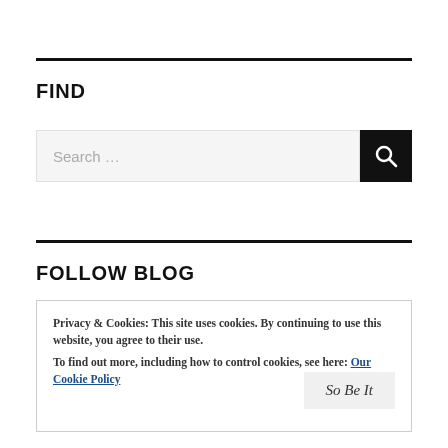FIND
[Figure (screenshot): Search bar with text input field showing placeholder 'Search ...' and a black magnifying glass button on the right]
FOLLOW BLOG
Privacy & Cookies: This site uses cookies. By continuing to use this website, you agree to their use.
To find out more, including how to control cookies, see here: Our Cookie Policy
So Be It